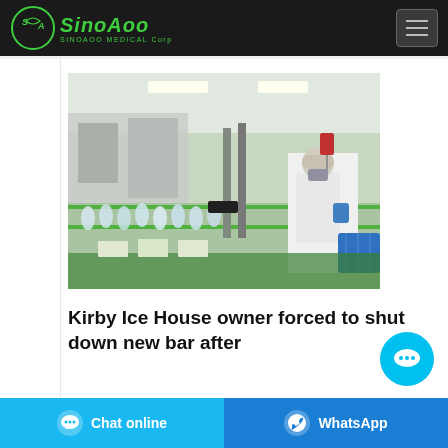SinoAoo Medical Corp
[Figure (photo): Industrial bottling/filling facility with rows of glass bottles on a conveyor belt. A worker in white protective gear, hairnet and face mask is operating equipment on the right side. Clean room environment with bright overhead lighting.]
Kirby Ice House owner forced to shut down new bar after
Chat online | WhatsApp